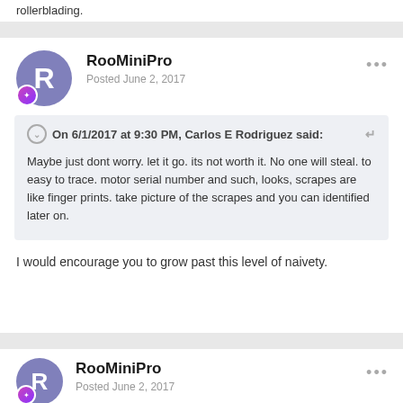rollerblading.
RooMiniPro
Posted June 2, 2017
On 6/1/2017 at 9:30 PM, Carlos E Rodriguez said:
Maybe just dont worry. let it go. its not worth it. No one will steal. to easy to trace. motor serial number and such, looks, scrapes are like finger prints. take picture of the scrapes and you can identified later on.
I would encourage you to grow past this level of naivety.
RooMiniPro
Posted June 2, 2017